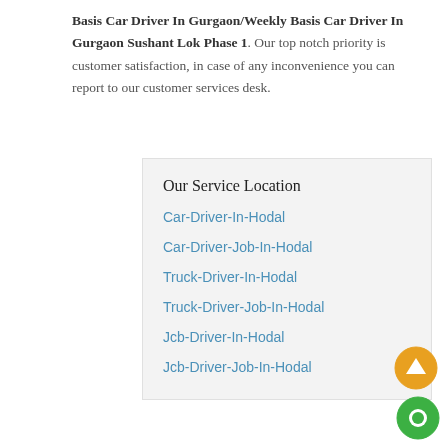Basis Car Driver In Gurgaon/Weekly Basis Car Driver In Gurgaon Sushant Lok Phase 1. Our top notch priority is customer satisfaction, in case of any inconvenience you can report to our customer services desk.
Our Service Location
Car-Driver-In-Hodal
Car-Driver-Job-In-Hodal
Truck-Driver-In-Hodal
Truck-Driver-Job-In-Hodal
Jcb-Driver-In-Hodal
Jcb-Driver-Job-In-Hodal